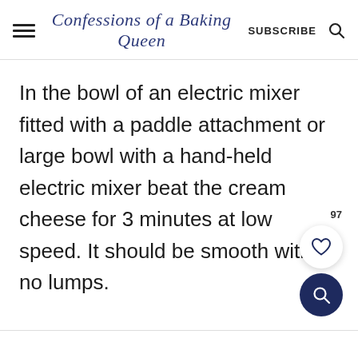Confessions of a Baking Queen   SUBSCRIBE
In the bowl of an electric mixer fitted with a paddle attachment or large bowl with a hand-held electric mixer beat the cream cheese for 3 minutes at low speed. It should be smooth with no lumps.
[Figure (other): Like/favorite button with heart icon showing 97 likes, and a dark navy search button below it]